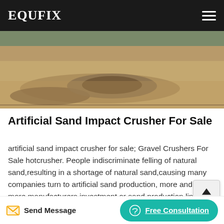EQUFIX
[Figure (photo): Aerial or ground-level photo of crushed gravel/artificial sand piles on dry ground, showing mounds of crushed stone material in an outdoor setting.]
Artificial Sand Impact Crusher For Sale
artificial sand impact crusher for sale; Gravel Crushers For Sale hotcrusher. People indiscriminate felling of natural sand,resulting in a shortage of natural sand,causing many companies turn to artificial sand production, more and more manufacturers investment or sand production line. while before investment, the first thing is to before purchase of equipment,so gravel